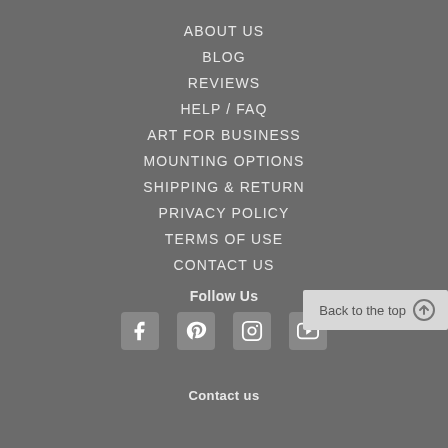ABOUT US
BLOG
REVIEWS
HELP / FAQ
ART FOR BUSINESS
MOUNTING OPTIONS
SHIPPING & RETURN
PRIVACY POLICY
TERMS OF USE
CONTACT US
Follow Us
[Figure (infographic): Social media icons: Facebook, Pinterest, Instagram, YouTube]
Back to the top
Contact us